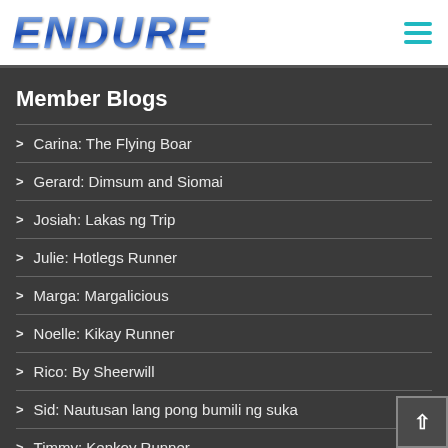ENDURE
Member Blogs
Carina: The Flying Boar
Gerard: Dimsum and Siomai
Josiah: Lakas ng Trip
Julie: Hotlegs Runner
Marga: Margalicious
Noelle: Kikay Runner
Rico: By Sheerwill
Sid: Nautusan lang pong bumili ng suka
Timmy: Kenkoy Runner
Tracy: Digital Dash